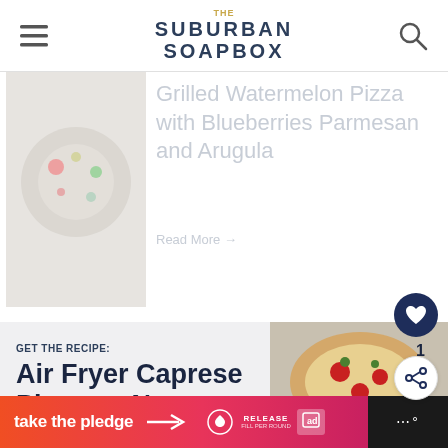THE SUBURBAN SOAPBOX
[Figure (photo): Food photo of a pizza dish with colorful toppings, partially visible]
Grilled Watermelon Pizza with Blueberries Parmesan and Arugula
Read More →
GET THE RECIPE:
Air Fryer Caprese Pizza on Naan
[Figure (photo): Top-down photo of air fryer caprese pizza on naan with tomatoes and toppings]
WHAT'S NEXT → Pan Fried Tilapia with...
[Figure (infographic): Orange to pink gradient banner with text 'take the pledge' and arrow, Release logo, and ad marker]